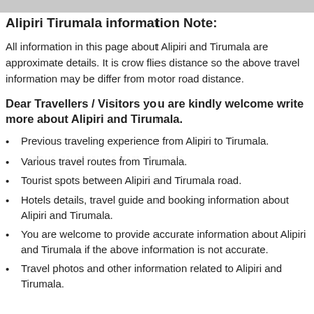Alipiri Tirumala information Note:
All information in this page about Alipiri and Tirumala are approximate details. It is crow flies distance so the above travel information may be differ from motor road distance.
Dear Travellers / Visitors you are kindly welcome write more about Alipiri and Tirumala.
Previous traveling experience from Alipiri to Tirumala.
Various travel routes from Tirumala.
Tourist spots between Alipiri and Tirumala road.
Hotels details, travel guide and booking information about Alipiri and Tirumala.
You are welcome to provide accurate information about Alipiri and Tirumala if the above information is not accurate.
Travel photos and other information related to Alipiri and Tirumala.